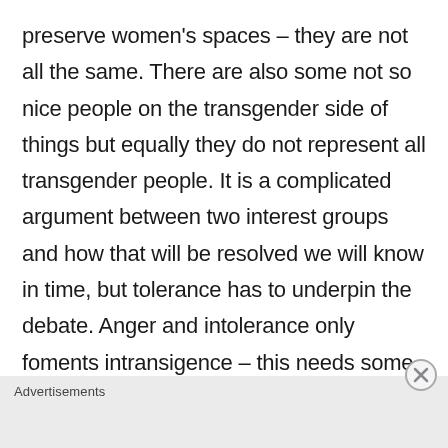preserve women's spaces – they are not all the same. There are also some not so nice people on the transgender side of things but equally they do not represent all transgender people. It is a complicated argument between two interest groups and how that will be resolved we will know in time, but tolerance has to underpin the debate. Anger and intolerance only foments intransigence – this needs some steam
Advertisements